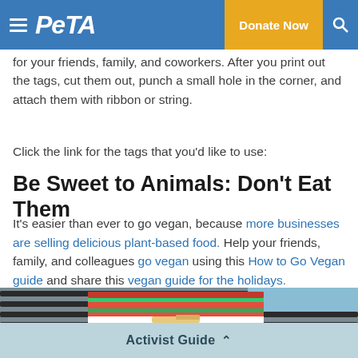PETA | Donate Now
for your friends, family, and coworkers. After you print out the tags, cut them out, punch a small hole in the corner, and attach them with ribbon or string.
Click the link for the tags that you'd like to use:
Be Sweet to Animals: Don't Eat Them
It's easier than ever to go vegan, because more businesses are selling delicious plant-based food. Help your friends, family, and colleagues go vegan using this How to Go Vegan guide and share this vegan guide for the holidays.
[Figure (photo): Photo of a striped red, white and green bag with food, on a grill background]
Activist Guide ^